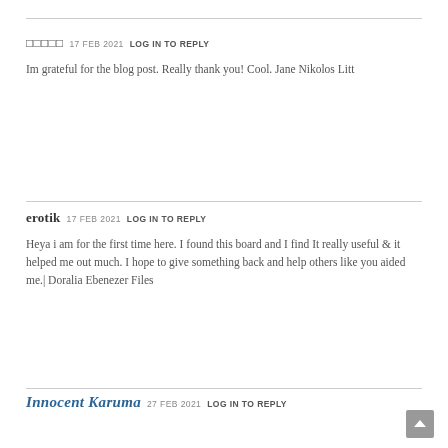□□□□□ 17 FEB 2021 LOG IN TO REPLY
Im grateful for the blog post. Really thank you! Cool. Jane Nikolos Litt
erotik 17 FEB 2021 LOG IN TO REPLY
Heya i am for the first time here. I found this board and I find It really useful & it helped me out much. I hope to give something back and help others like you aided me.| Doralia Ebenezer Files
Innocent Karuma 27 FEB 2021 LOG IN TO REPLY